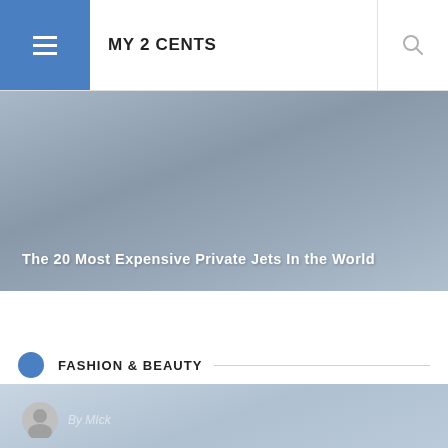MY 2 CENTS
[Figure (photo): Hero image with gradient background (blue-gray tones) showing text overlay]
The 20 Most Expensive Private Jets In the World
FASHION & BEAUTY
[Figure (photo): Card image with light blue-gray gradient background, showing author avatar and name]
By MIck